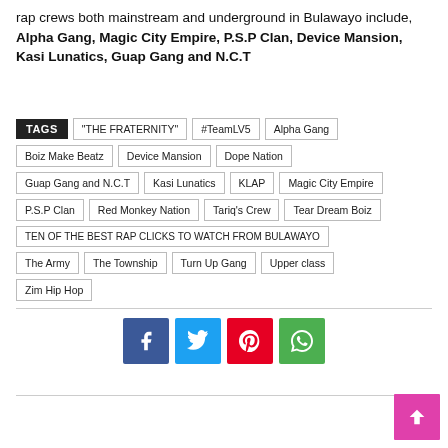rap crews both mainstream and underground in Bulawayo include, Alpha Gang, Magic City Empire, P.S.P Clan, Device Mansion, Kasi Lunatics, Guap Gang and N.C.T
TAGS | "THE FRATERNITY" | #TeamLV5 | Alpha Gang | Boiz Make Beatz | Device Mansion | Dope Nation | Guap Gang and N.C.T | Kasi Lunatics | KLAP | Magic City Empire | P.S.P Clan | Red Monkey Nation | Tariq's Crew | Tear Dream Boiz | TEN OF THE BEST RAP CLICKS TO WATCH FROM BULAWAYO | The Army | The Township | Turn Up Gang | Upper class | Zim Hip Hop
[Figure (infographic): Social share buttons: Facebook (blue), Twitter (cyan), Pinterest (red), WhatsApp (green)]